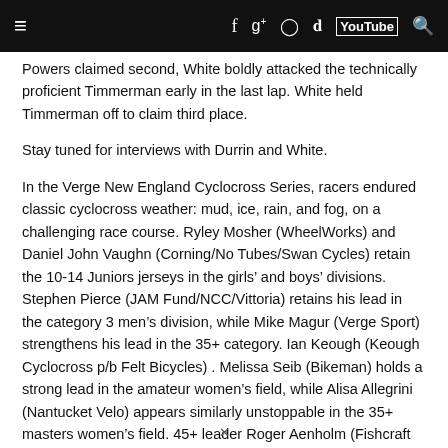≡  f  g+  ◎  🐦  YouTube  🔍
Powers claimed second, White boldly attacked the technically proficient Timmerman early in the last lap. White held Timmerman off to claim third place.
Stay tuned for interviews with Durrin and White.
In the Verge New England Cyclocross Series, racers endured classic cyclocross weather: mud, ice, rain, and fog, on a challenging race course. Ryley Mosher (WheelWorks) and Daniel John Vaughn (Corning/No Tubes/Swan Cycles) retain the 10-14 Juniors jerseys in the girls' and boys' divisions. Stephen Pierce (JAM Fund/NCC/Vittoria) retains his lead in the category 3 men's division, while Mike Magur (Verge Sport) strengthens his lead in the 35+ category. Ian Keough (Keough Cyclocross p/b Felt Bicycles) . Melissa Seib (Bikeman) holds a strong lead in the amateur women's field, while Alisa Allegrini (Nantucket Velo) appears similarly unstoppable in the 35+ masters women's field. 45+ leader Roger Aenholm (Fishcraft Cycling Team) retains the
✕